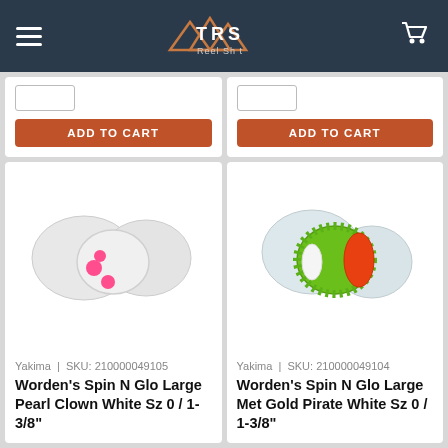TRS Reel Sh t
[Figure (screenshot): Add to Cart button strip for two products - left and right cards each with a quantity input box and orange ADD TO CART button]
[Figure (photo): Worden's Spin N Glo Large Pearl Clown White fishing lure - white spinner bait with pink dots]
Yakima  |  SKU: 210000049105
Worden's Spin N Glo Large Pearl Clown White Sz 0 / 1-3/8"
[Figure (photo): Worden's Spin N Glo Large Met Gold Pirate White fishing lure - green metallic with orange and white spinner]
Yakima  |  SKU: 210000049104
Worden's Spin N Glo Large Met Gold Pirate White Sz 0 / 1-3/8"